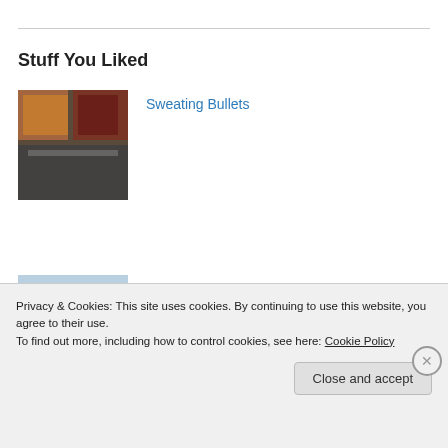Stuff You Liked
Sweating Bullets
New Second Life Starter Avatars
Privacy & Cookies: This site uses cookies. By continuing to use this website, you agree to their use.
To find out more, including how to control cookies, see here: Cookie Policy
Close and accept